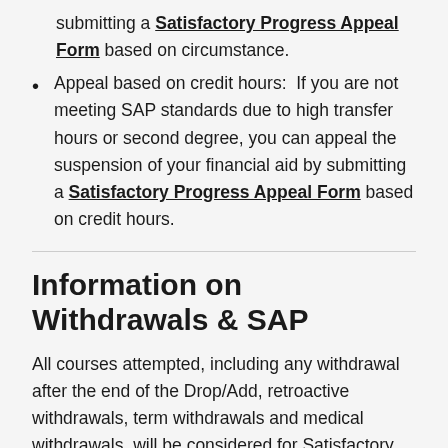submitting a Satisfactory Progress Appeal Form based on circumstance.
Appeal based on credit hours: If you are not meeting SAP standards due to high transfer hours or second degree, you can appeal the suspension of your financial aid by submitting a Satisfactory Progress Appeal Form based on credit hours.
Information on Withdrawals & SAP
All courses attempted, including any withdrawal after the end of the Drop/Add, retroactive withdrawals, term withdrawals and medical withdrawals, will be considered for Satisfactory Progress. Hours will be